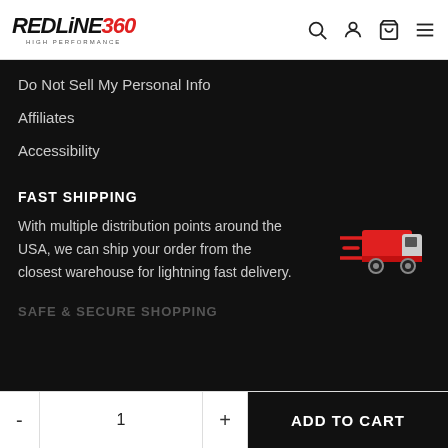REDLINE360 HIGH PERFORMANCE
Do Not Sell My Personal Info
Affiliates
Accessibility
FAST SHIPPING
With multiple distribution points around the USA, we can ship your order from the closest warehouse for lightning fast delivery.
[Figure (illustration): Red delivery truck icon with speed lines indicating fast shipping]
SAFE & SECURE SHOPPING